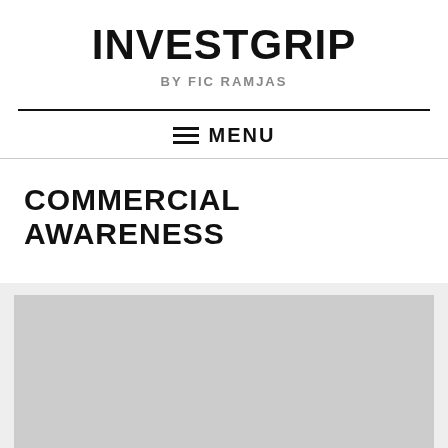INVESTGRIP
BY FIC RAMJAS
MENU
COMMERCIAL AWARENESS
[Figure (photo): Gray placeholder image area below the Commercial Awareness heading]